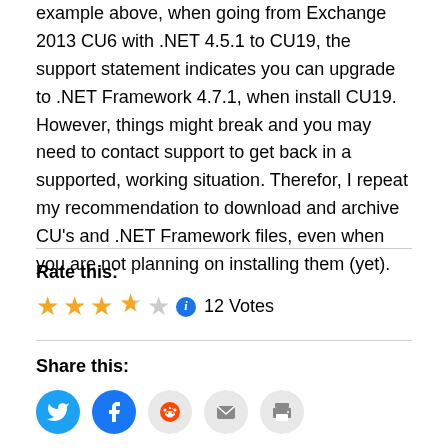example above, when going from Exchange 2013 CU6 with .NET 4.5.1 to CU19, the support statement indicates you can upgrade to .NET Framework 4.7.1, when install CU19. However, things might break and you may need to contact support to get back in a supported, working situation. Therefor, I repeat my recommendation to download and archive CU’s and .NET Framework files, even when you are not planning on installing them (yet).
Rate this:
[Figure (other): 4.5 out of 5 stars rating with info icon and '12 Votes' text]
Share this:
[Figure (infographic): Social share buttons: Twitter, Facebook, Reddit, Email, Print]